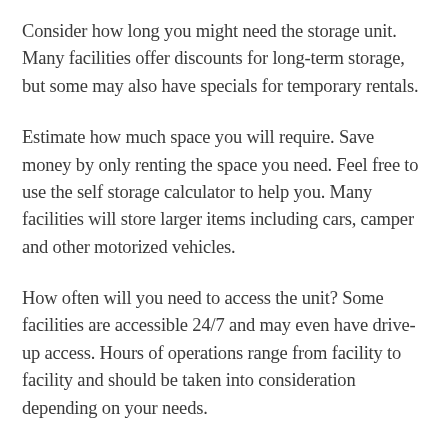Consider how long you might need the storage unit. Many facilities offer discounts for long-term storage, but some may also have specials for temporary rentals.
Estimate how much space you will require. Save money by only renting the space you need. Feel free to use the self storage calculator to help you. Many facilities will store larger items including cars, camper and other motorized vehicles.
How often will you need to access the unit? Some facilities are accessible 24/7 and may even have drive-up access. Hours of operations range from facility to facility and should be taken into consideration depending on your needs.
Are any of the items you plan to store sensitive to temperature or humidity? If so, you will most likely need a climate-controlled storage unit. Typically, the following items need to